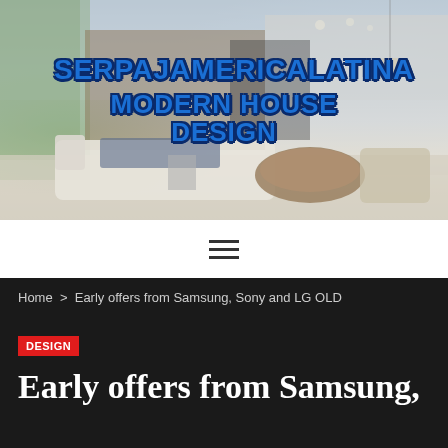[Figure (photo): Modern luxury living room interior with open plan design, large windows, white sectional sofa, round wooden coffee table, and neutral tones. Website header image for SERPAJAMERICALATINA MODERN HOUSE DESIGN.]
SERPAJAMERICALATINA MODERN HOUSE DESIGN
☰ (hamburger menu icon)
Home > Early offers from Samsung, Sony and LG OLD
DESIGN
Early offers from Samsung,